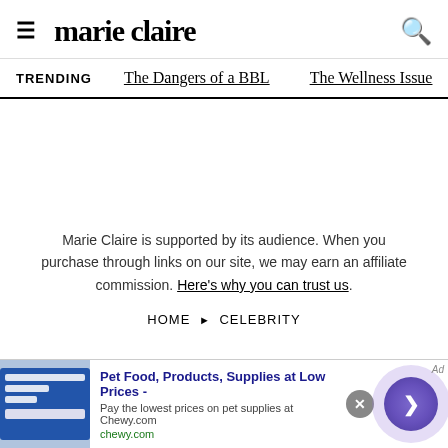marie claire
TRENDING   The Dangers of a BBL   The Wellness Issue
Marie Claire is supported by its audience. When you purchase through links on our site, we may earn an affiliate commission. Here's why you can trust us.
HOME ▶ CELEBRITY
[Figure (screenshot): Bottom advertisement banner for Chewy.com: Pet Food, Products, Supplies at Low Prices - with close button and arrow button]